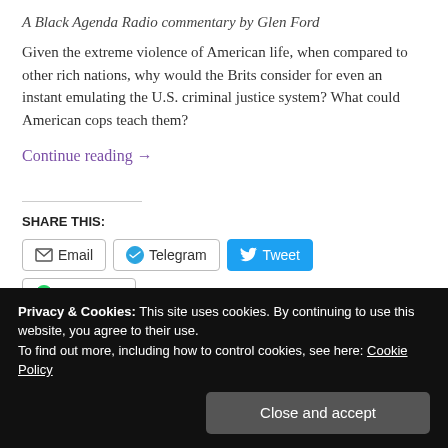A Black Agenda Radio commentary by Glen Ford
Given the extreme violence of American life, when compared to other rich nations, why would the Brits consider for even an instant emulating the U.S. criminal justice system? What could American cops teach them?
Continue reading →
SHARE THIS:
Email | Telegram | Tweet | WhatsApp | More
Privacy & Cookies: This site uses cookies. By continuing to use this website, you agree to their use.
To find out more, including how to control cookies, see here: Cookie Policy
Close and accept